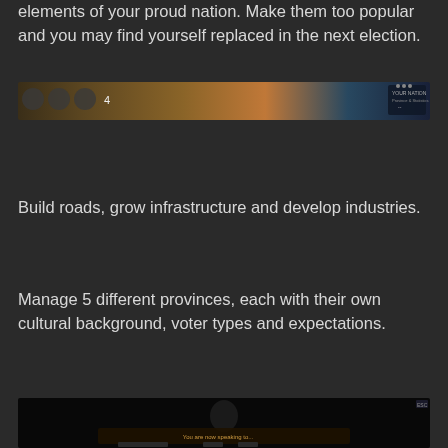elements of your proud nation. Make them too popular and you may find yourself replaced in the next election.
[Figure (screenshot): Game screenshot showing a desert/Mars landscape with a HUD interface element in the top right]
Build roads, grow infrastructure and develop industries.
Manage 5 different provinces, each with their own cultural background, voter types and expectations.
[Figure (screenshot): Game screenshot showing a dark scene with a character dialogue or interaction interface]